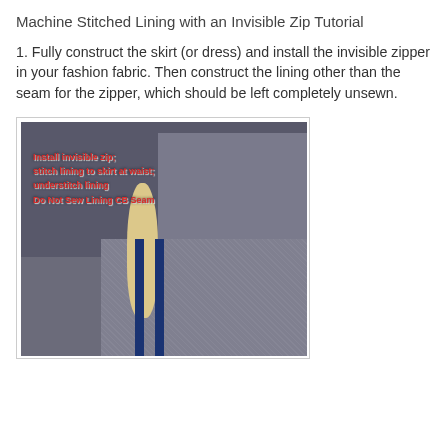Machine Stitched Lining with an Invisible Zip Tutorial
1. Fully construct the skirt (or dress) and install the invisible zipper in your fashion fabric. Then construct the lining other than the seam for the zipper, which should be left completely unsewn.
[Figure (photo): Photo showing the inside of a skirt with a dark satin lining folded back to reveal the fashion fabric and zipper area. Overlay text reads: Install invisible zip; stitch lining to skirt at waist; understitch lining. Do Not Sew Lining CB Seam]